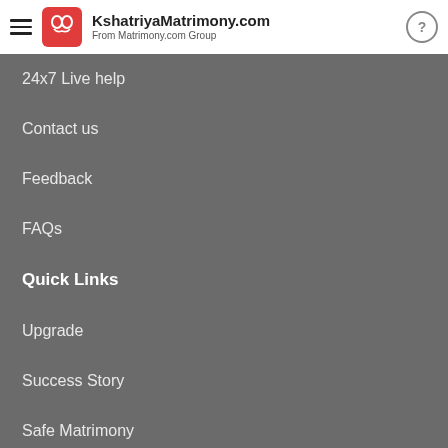KshatriyaMatrimony.com From Matrimony.com Group
24x7 Live help
Contact us
Feedback
FAQs
Quick Links
Upgrade
Success Story
Safe Matrimony
Popular Matrimony Searches